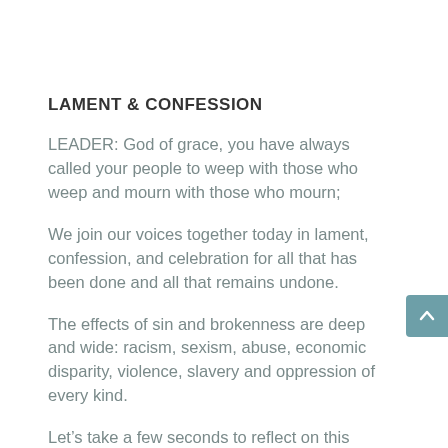LAMENT & CONFESSION
LEADER: God of grace, you have always called your people to weep with those who weep and mourn with those who mourn;
We join our voices together today in lament, confession, and celebration for all that has been done and all that remains undone.
The effects of sin and brokenness are deep and wide: racism, sexism, abuse, economic disparity, violence, slavery and oppression of every kind.
Let’s take a few seconds to reflect on this question:
How have you recently observed the world or